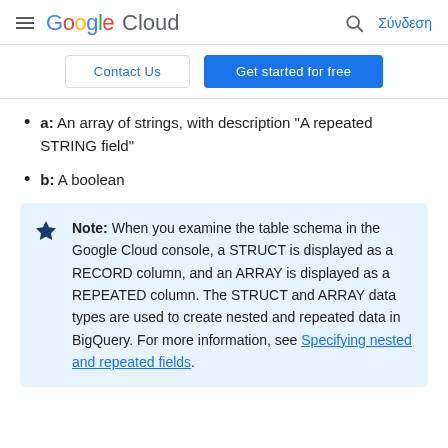Google Cloud — Σύνδεση
Contact Us | Get started for free
a: An array of strings, with description "A repeated STRING field"
b: A boolean
Note: When you examine the table schema in the Google Cloud console, a STRUCT is displayed as a RECORD column, and an ARRAY is displayed as a REPEATED column. The STRUCT and ARRAY data types are used to create nested and repeated data in BigQuery. For more information, see Specifying nested and repeated fields.